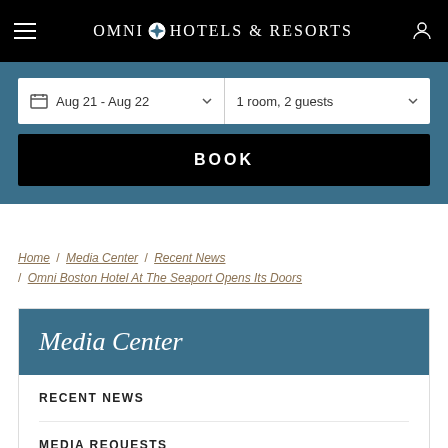Omni Hotels & Resorts
[Figure (screenshot): Hotel booking widget with date selector showing Aug 21 - Aug 22 and room/guest selector showing 1 room, 2 guests, with a BOOK button]
Home / Media Center / Recent News / Omni Boston Hotel At The Seaport Opens Its Doors
Media Center
RECENT NEWS
MEDIA REQUESTS
DIGITAL LIBRARY
AWARDS & ACCOLADES